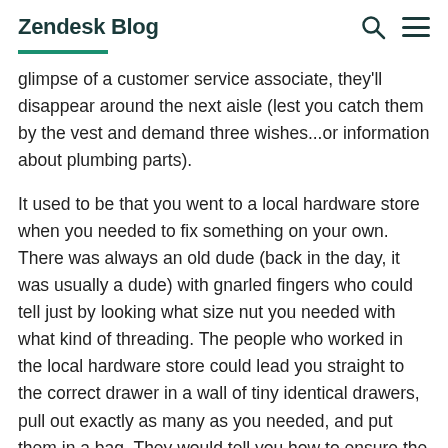Zendesk Blog
glimpse of a customer service associate, they'll disappear around the next aisle (lest you catch them by the vest and demand three wishes...or information about plumbing parts).
It used to be that you went to a local hardware store when you needed to fix something on your own. There was always an old dude (back in the day, it was usually a dude) with gnarled fingers who could tell just by looking what size nut you needed with what kind of threading. The people who worked in the local hardware store could lead you straight to the correct drawer in a wall of tiny identical drawers, pull out exactly as many as you needed, and put them in a bag. They would tell you how to ensure the threads were aligned so you could avoid getting the nut irrevocably stuck, which can lead to a series of other